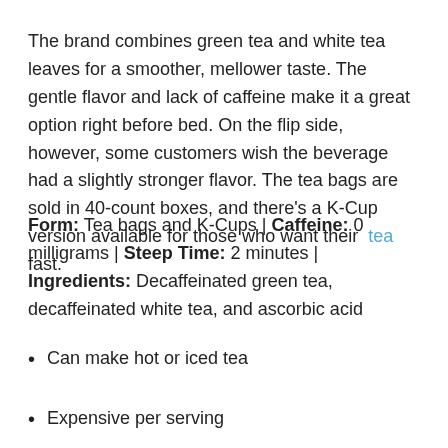The brand combines green tea and white tea leaves for a smoother, mellower taste. The gentle flavor and lack of caffeine make it a great option right before bed. On the flip side, however, some customers wish the beverage had a slightly stronger flavor. The tea bags are sold in 40-count boxes, and there's a K-Cup version available for those who want their tea fast.
Form: Tea bags and K-Cups | Caffeine: 0 milligrams | Steep Time: 2 minutes | Ingredients: Decaffeinated green tea, decaffeinated white tea, and ascorbic acid
Can make hot or iced tea
Expensive per serving